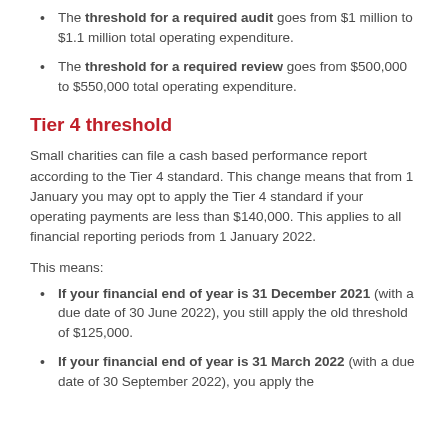The threshold for a required audit goes from $1 million to $1.1 million total operating expenditure.
The threshold for a required review goes from $500,000 to $550,000 total operating expenditure.
Tier 4 threshold
Small charities can file a cash based performance report according to the Tier 4 standard. This change means that from 1 January you may opt to apply the Tier 4 standard if your operating payments are less than $140,000. This applies to all financial reporting periods from 1 January 2022.
This means:
If your financial end of year is 31 December 2021 (with a due date of 30 June 2022), you still apply the old threshold of $125,000.
If your financial end of year is 31 March 2022 (with a due date of 30 September 2022), you apply the